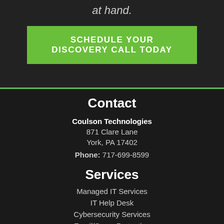at hand.
SCHEDULE YOUR DISCOVERY CALL TODAY
Contact
Coulson Technologies
871 Clare Lane
York, PA 17402
Phone: 717-699-8599
Services
Managed IT Services
IT Help Desk
Cybersecurity Services
Email/Spam Protection
Cloud Computing